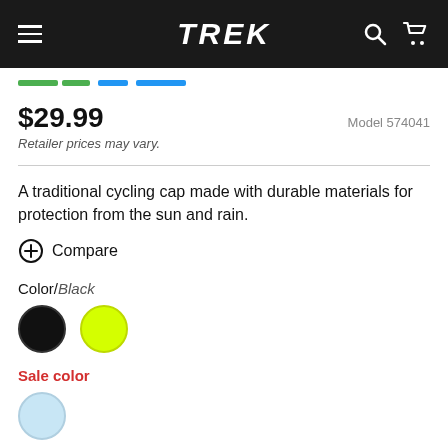TREK
$29.99   Model 574041
Retailer prices may vary.
A traditional cycling cap made with durable materials for protection from the sun and rain.
Compare
Color/Black
[Figure (illustration): Two color swatches: black circle and yellow-green circle]
Sale color
[Figure (illustration): One sale color swatch: light blue circle]
Size